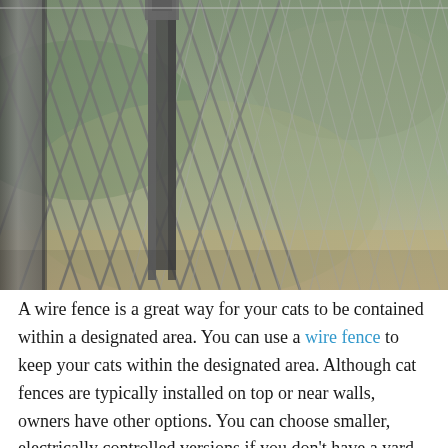[Figure (photo): Close-up photograph of a chain-link wire fence with metal posts, taken at a slight angle. The fence shows interlocking diamond-pattern wire mesh. Background is blurred green foliage and brownish tones.]
A wire fence is a great way for your cats to be contained within a designated area. You can use a wire fence to keep your cats within the designated area. Although cat fences are typically installed on top or near walls, owners have other options. You can choose smaller, electrically controlled versions if you don't have a yard with a cat fence. They can be placed on top of a block, brick or metal structure. Them